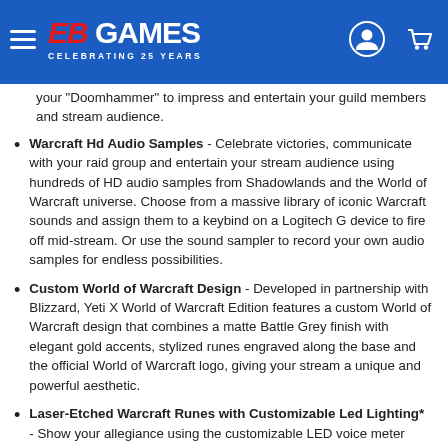EB Games - Celebrating 25 Years
your "Doomhammer" to impress and entertain your guild members and stream audience.
Warcraft Hd Audio Samples - Celebrate victories, communicate with your raid group and entertain your stream audience using hundreds of HD audio samples from Shadowlands and the World of Warcraft universe. Choose from a massive library of iconic Warcraft sounds and assign them to a keybind on a Logitech G device to fire off mid-stream. Or use the sound sampler to record your own audio samples for endless possibilities.
Custom World of Warcraft Design - Developed in partnership with Blizzard, Yeti X World of Warcraft Edition features a custom World of Warcraft design that combines a matte Battle Grey finish with elegant gold accents, stylized runes engraved along the base and the official World of Warcraft logo, giving your stream a unique and powerful aesthetic.
Laser-Etched Warcraft Runes with Customizable Led Lighting* - Show your allegiance using the customizable LED voice meter featuring laser-etched Warcraft runes with colour-matched Alliance or Horde faction presets. Yeti X World of Warcraft Edition is plug 'n play on PC and Mac right out of the box, but it also integrates deeply with